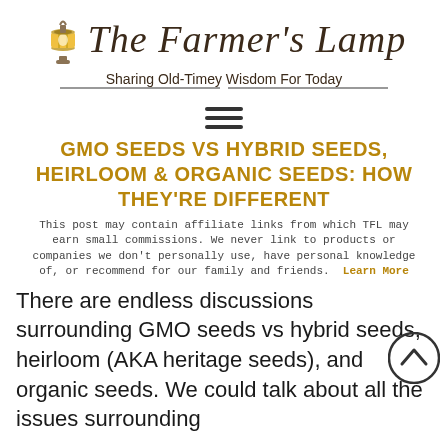[Figure (logo): The Farmer's Lamp logo with a lantern icon and italic script text reading 'The Farmer's Lamp' with subtitle 'Sharing Old-Timey Wisdom For Today']
[Figure (other): Hamburger menu icon with three horizontal lines]
GMO SEEDS VS HYBRID SEEDS, HEIRLOOM & ORGANIC SEEDS: HOW THEY'RE DIFFERENT
This post may contain affiliate links from which TFL may earn small commissions. We never link to products or companies we don't personally use, have personal knowledge of, or recommend for our family and friends. Learn More
There are endless discussions surrounding GMO seeds vs hybrid seeds, heirloom (AKA heritage seeds), and organic seeds. We could talk about all the issues surrounding